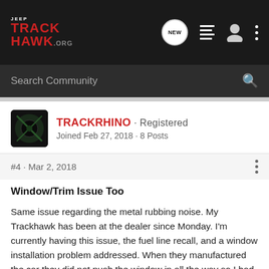JEEP TRACKHAWK.ORG
Search Community
TRACKRHINO · Registered
Joined Feb 27, 2018 · 8 Posts
#4 · Mar 2, 2018
Window/Trim Issue Too
Same issue regarding the metal rubbing noise. My Trackhawk has been at the dealer since Monday. I'm currently having this issue, the fuel line recall, and a window installation problem addressed. When they manufactured the car they did not push the window in all the way so I had ice wedging underneath the trim. This is very frustrating, but hopefully will be resolved today or tomorrow. I attached a picture of the window/trim issue. I've